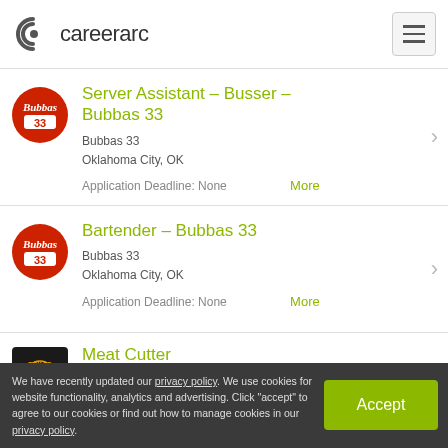careerarc
Server Assistant - Busser - Bubbas 33
Bubbas 33
Oklahoma City, OK
Application Deadline: None
Bartender - Bubbas 33
Bubbas 33
Oklahoma City, OK
Application Deadline: None
Meat Cutter
Texas Roadhouse
We have recently updated our privacy policy. We use cookies for website functionality, analytics and advertising. Click "accept" to agree to our cookies or find out how to manage cookies in our privacy policy.